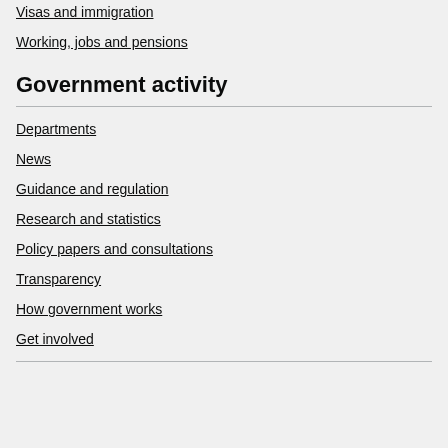Visas and immigration
Working, jobs and pensions
Government activity
Departments
News
Guidance and regulation
Research and statistics
Policy papers and consultations
Transparency
How government works
Get involved